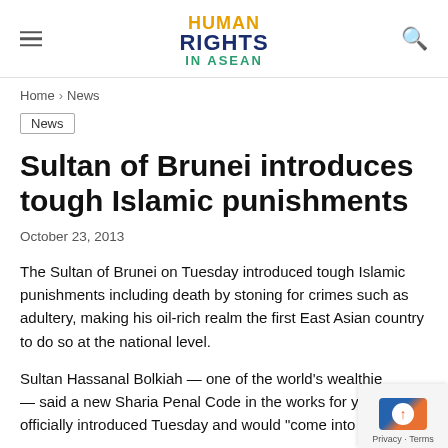HUMAN RIGHTS IN ASEAN
Home > News
News
Sultan of Brunei introduces tough Islamic punishments
October 23, 2013
The Sultan of Brunei on Tuesday introduced tough Islamic punishments including death by stoning for crimes such as adultery, making his oil-rich realm the first East Asian country to do so at the national level.
Sultan Hassanal Bolkiah — one of the world's wealthie — said a new Sharia Penal Code in the works for years officially introduced Tuesday and would "come into force six